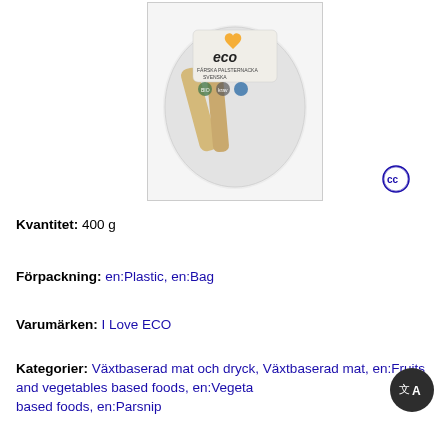[Figure (photo): Photo of a plastic bag containing parsnips (palsternacka) with an 'I Love ECO' branded label showing eco certifications.]
Kvantitet: 400 g
Förpackning: en:Plastic, en:Bag
Varumärken: I Love ECO
Kategorier: Växtbaserad mat och dryck, Växtbaserad mat, en:Fruits and vegetables based foods, en:Vegetable-based foods, en:Parsnip